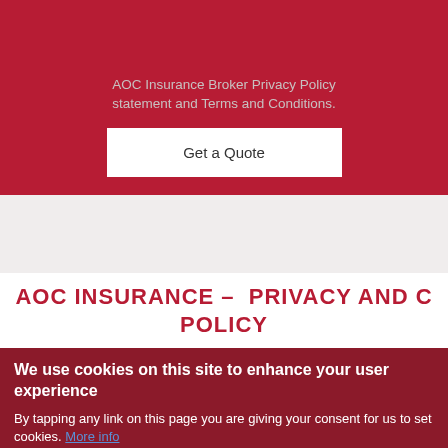AOC Insurance Broker Privacy Policy statement and Terms and Conditions.
Get a Quote
AOC INSURANCE – PRIVACY AND COOKIE POLICY
We use cookies on this site to enhance your user experience
By tapping any link on this page you are giving your consent for us to set cookies. More info
OK, I agree